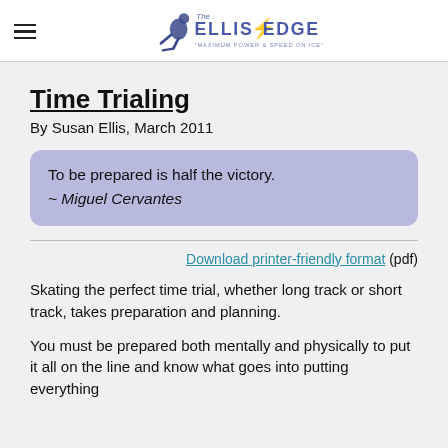The Ellis Edge — Maximum Power & Speed on Ice
Time Trialing
By Susan Ellis, March 2011
To be prepared is half the victory.
~ Miguel Cervantes
Download printer-friendly format (pdf)
Skating the perfect time trial, whether long track or short track, takes preparation and planning.
You must be prepared both mentally and physically to put it all on the line and know what goes into putting everything